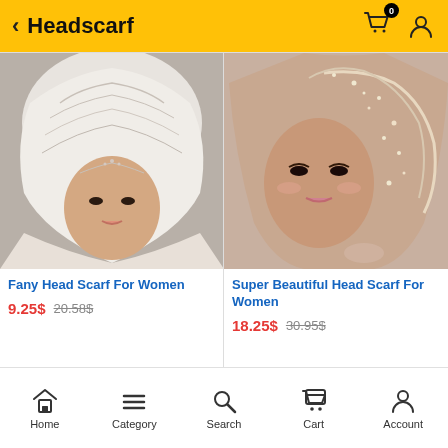Headscarf
[Figure (photo): Woman wearing a white beaded and pearl-embellished bridal headscarf hijab, smiling]
Fany Head Scarf For Women
9.25$ 20.58$
[Figure (photo): Woman wearing a rose gold crystal and rhinestone-embellished headscarf hijab with dramatic eye makeup]
Super Beautiful Head Scarf For Women
18.25$ 30.95$
Home  Category  Search  Cart  Account